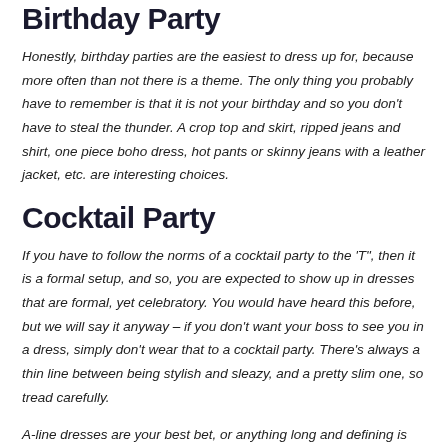Birthday Party
Honestly, birthday parties are the easiest to dress up for, because more often than not there is a theme. The only thing you probably have to remember is that it is not your birthday and so you don't have to steal the thunder. A crop top and skirt, ripped jeans and shirt, one piece boho dress, hot pants or skinny jeans with a leather jacket, etc. are interesting choices.
Cocktail Party
If you have to follow the norms of a cocktail party to the 'T", then it is a formal setup, and so, you are expected to show up in dresses that are formal, yet celebratory. You would have heard this before, but we will say it anyway – if you don't want your boss to see you in a dress, simply don't wear that to a cocktail party. There's always a thin line between being stylish and sleazy, and a pretty slim one, so tread carefully.
A-line dresses are your best bet, or anything long and defining is